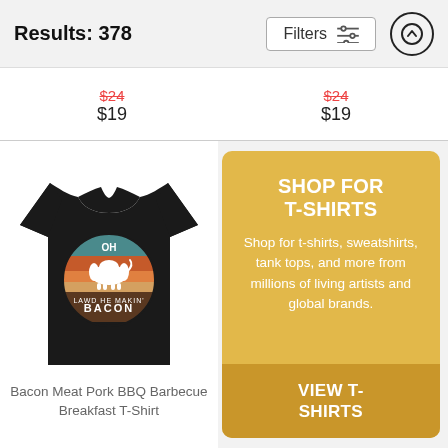Results: 378
Filters
$24 (strikethrough)  $19
$24 (strikethrough)  $19
[Figure (photo): Black t-shirt with pig graphic and text reading OH LAWD HE MAKIN' BACON on a retro sunset circle design]
Bacon Meat Pork BBQ Barbecue Breakfast T-Shirt
SHOP FOR T-SHIRTS
Shop for t-shirts, sweatshirts, tank tops, and more from millions of living artists and global brands.
VIEW T-SHIRTS